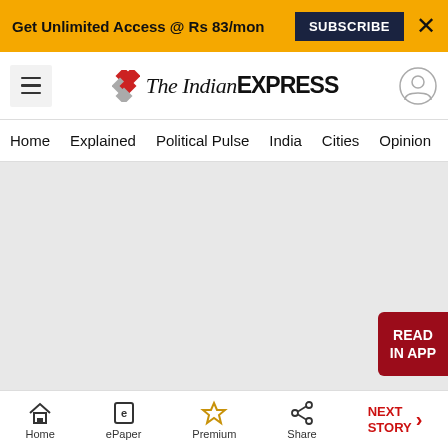Get Unlimited Access @ Rs 83/mon   SUBSCRIBE   X
[Figure (logo): The Indian Express logo with red and gray diamond shapes and a hamburger menu icon on the left and user profile icon on the right]
Home   Explained   Political Pulse   India   Cities   Opinion   Entertainment
[Figure (photo): Large light gray placeholder image area for an article photo with a READ IN APP button on the bottom right]
Orkut is in the news again,this time for the right
Home   ePaper   Premium   Share   NEXT STORY